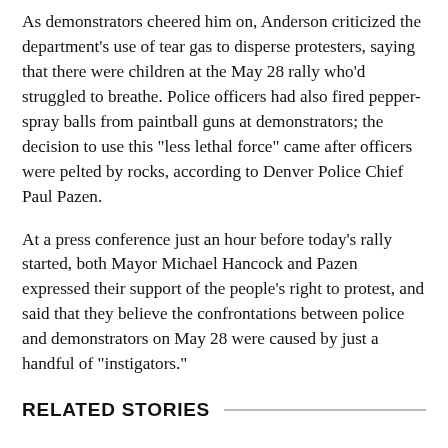As demonstrators cheered him on, Anderson criticized the department's use of tear gas to disperse protesters, saying that there were children at the May 28 rally who'd struggled to breathe. Police officers had also fired pepper-spray balls from paintball guns at demonstrators; the decision to use this "less lethal force" came after officers were pelted by rocks, according to Denver Police Chief Paul Pazen.
At a press conference just an hour before today's rally started, both Mayor Michael Hancock and Pazen expressed their support of the people's right to protest, and said that they believe the confrontations between police and demonstrators on May 28 were caused by just a handful of "instigators."
RELATED STORIES